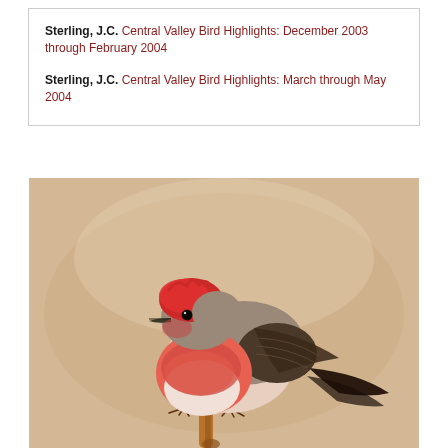Sterling, J.C. Central Valley Bird Highlights: December 2003 through February 2004
Sterling, J.C. Central Valley Bird Highlights: March through May 2004
[Figure (photo): Photograph of a small bird with a bright red/pink crown and breast, brown/grey back and wings with dark tail feathers, perched on a thin branch or twig. The background is a warm tan/beige color. The bird appears to be a Vermilion Flycatcher.]